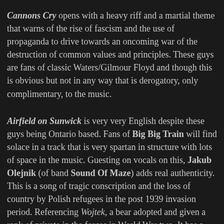Cannons Cry opens with a heavy riff and a martial theme that warns of the rise of fascism and the use of propaganda to drive towards an oncoming war of the destruction of common values and principles. These guys are fans of classic Waters/Gilmour Floyd and though this is obvious but not in any way that is derogatory, only complimentary, to the music.
Airfield on Sunwick is very very English despite these guys being Ontario based. Fans of Big Big Train will find solace in a track that is very spartan in structure with lots of space in the music. Guesting on vocals on this, Jakub Olejnik (of band Sound Of Maze) adds real authenticity. This is a song of tragic conscription and the loss of country by Polish refugees in the post 1939 invasion period. Referencing Wojtek, a bear adopted and given a rank of private in the forces in World War two. It has a beautiful tone and quality about it.